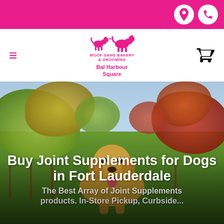Navigation bar with location and phone icons
[Figure (logo): Dog Grooming Bakery & Grooming logo with two dog silhouettes in pink, text reading Bal Harbour Square]
[Figure (photo): Golden retriever dog sitting outdoors in an autumn vineyard setting with colorful foliage in the background]
Buy Joint Supplements for Dogs in Fort Lauderdale
The Best Array of Joint Supplements products. In-Store Pickup, Curbside...